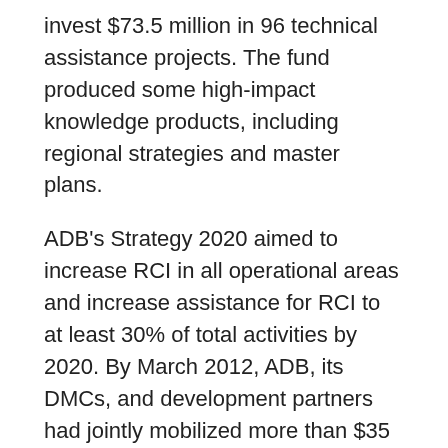invest $73.5 million in 96 technical assistance projects. The fund produced some high-impact knowledge products, including regional strategies and master plans.
ADB's Strategy 2020 aimed to increase RCI in all operational areas and increase assistance for RCI to at least 30% of total activities by 2020. By March 2012, ADB, its DMCs, and development partners had jointly mobilized more than $35 billion for RCI investment and technical assistance. The United Nations has recognized partnerships and cooperation as essential tools to support national efforts in implementing the 2030 Agenda for Sustainable Development.
ADB's commitment is evident not only in the roads, power transmission lines, bridges, ports and border crossings linking member countries, but also in the trade agreements, treaties and regional institutions that facilitate working together. ADB's Strategy 2030 identifies